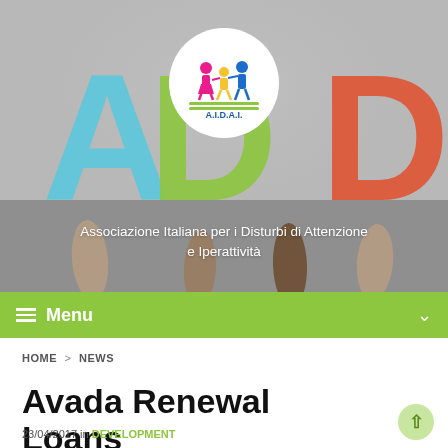[Figure (photo): Hero banner showing hands holding up large colorful letters spelling ADHD against a grey background, with AIDAI logo circle overlay and Italian subtitle text]
Associazione Italiana per i Disturbi di Attenzione e Iperattività
≡ Menu
HOME > NEWS
Avada Renewal Loans
23/04/2017 in DEVELOPMENT